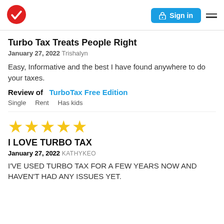[Figure (logo): TurboTax red circle with white checkmark logo]
[Figure (screenshot): Blue Sign in button with lock icon]
Turbo Tax Treats People Right
January 27, 2022 Trishalyn
Easy, Informative and the best I have found anywhere to do your taxes.
Review of   TurboTax Free Edition
Single   Rent   Has kids
[Figure (other): 5 yellow stars rating]
I LOVE TURBO TAX
January 27, 2022 KATHYKEO
I'VE USED TURBO TAX FOR A FEW YEARS NOW AND HAVEN'T HAD ANY ISSUES YET.